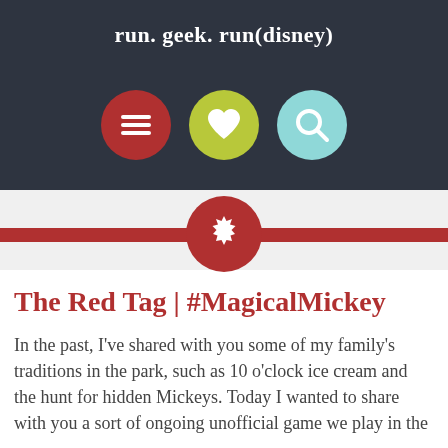run. geek. run(disney)
[Figure (illustration): Three circular navigation icons: red menu/hamburger icon, yellow-green heart icon, teal search/magnifying glass icon]
[Figure (illustration): Decorative horizontal red bar with centered red circle containing a white starburst/gear ornament]
The Red Tag | #MagicalMickey
In the past, I've shared with you some of my family's traditions in the park, such as 10 o'clock ice cream and the hunt for hidden Mickeys. Today I wanted to share with you a sort of ongoing unofficial game we play in the